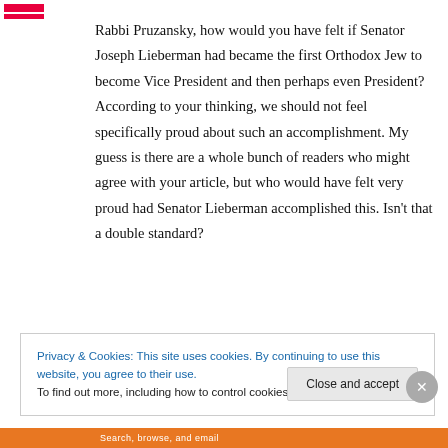Rabbi Pruzansky, how would you have felt if Senator Joseph Lieberman had became the first Orthodox Jew to become Vice President and then perhaps even President? According to your thinking, we should not feel specifically proud about such an accomplishment. My guess is there are a whole bunch of readers who might agree with your article, but who would have felt very proud had Senator Lieberman accomplished this. Isn't that a double standard?
Privacy & Cookies: This site uses cookies. By continuing to use this website, you agree to their use. To find out more, including how to control cookies, see here: Cookie Policy